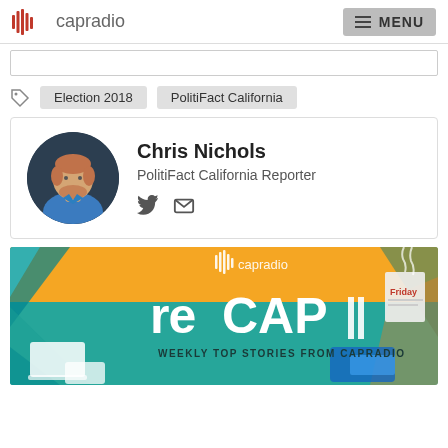capradio MENU
Election 2018
PolitiFact California
Chris Nichols
PolitiFact California Reporter
[Figure (illustration): CapRadio reCAP banner — weekly top stories from CapRadio promotional graphic with teal, green and orange background with text 'reCAP' and 'WEEKLY TOP STORIES FROM CAPRADIO']